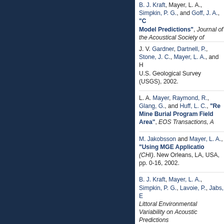B. J. Kraft, Mayer, L. A., Simpkin, P. G., and Goff, J. A., "Comparison of Measured Reflection Loss to Model Predictions", Journal of the Acoustical Society of...
J. V. Gardner, Dartnell, P., Stone, J. C., Mayer, L. A., and H... U.S. Geological Survey (USGS), 2002.
L. A. Mayer, Raymond, R., Glang, G., and Huff, L. C., "Re... Mine Burial Program Field Area", EOS Transactions, A...
M. Jakobsson and Mayer, L. A., "Using MGE Application... (CHI). New Orleans, LA, USA, pp. 0-16, 2002.
B. J. Kraft, Mayer, L. A., Simpkin, P. G., Lavoie, P., Jabs, E... Littoral Environmental Variability on Acoustic Predictions... pp. 115-130.
L. A. Mayer and Dr. Baldwin, K. C., "Shallow Water Su... Technology Society, pp. 3-4, 2002.
J. V. Gardner, Hughes Clarke, J. E., Mayer, L. A., and Dartr... Soto Canyon, Northeastern Gulf of Mexico", U.S. G...
R. G. Cutter Jr., Rzhanov, Y., and Mayer, L. A., "Automat... in the Piscataqua River, New Hampshire". 2002. KB)